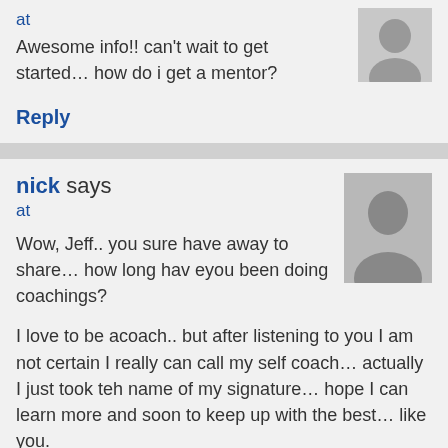at
Awesome info!! can't wait to get started… how do i get a mentor?
Reply
nick says
at
Wow, Jeff.. you sure have away to share… how long hav eyou been doing coachings?
I love to be acoach.. but after listening to you I am not certain I really can call my self coach… actually I just took teh name of my signature… hope I can learn more and soon to keep up with the best… like you.